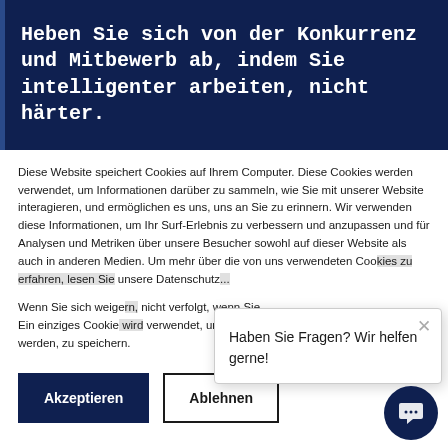Heben Sie sich von der Konkurrenz und Mitbewerb ab, indem Sie intelligenter arbeiten, nicht härter.
Diese Website speichert Cookies auf Ihrem Computer. Diese Cookies werden verwendet, um Informationen darüber zu sammeln, wie Sie mit unserer Website interagieren, und ermöglichen es uns, uns an Sie zu erinnern. Wir verwenden diese Informationen, um Ihr Surf-Erlebnis zu verbessern und anzupassen und für Analysen und Metriken über unsere Besucher sowohl auf dieser Website als auch in anderen Medien. Um mehr über die von uns verwendeten Cookies zu erfahren, lesen Sie unsere Datenschutz...
Wenn Sie sich weigern... nicht verfolgt, wenn... Ein einziges Cookie... verwendet, um Ihre... werden, zu speichern.
Haben Sie Fragen? Wir helfen gerne!